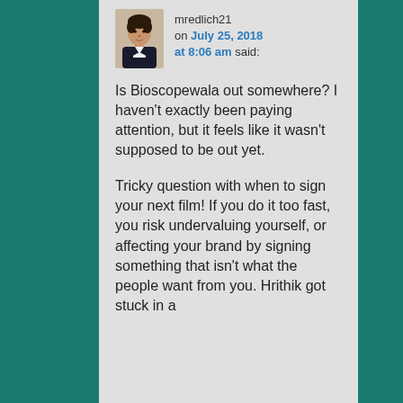[Figure (photo): Avatar photo of a man in a suit with dark hair]
mredlich21 on July 25, 2018 at 8:06 am said:
Is Bioscopewala out somewhere? I haven't exactly been paying attention, but it feels like it wasn't supposed to be out yet.
Tricky question with when to sign your next film! If you do it too fast, you risk undervaluing yourself, or affecting your brand by signing something that isn't what the people want from you. Hrithik got stuck in a